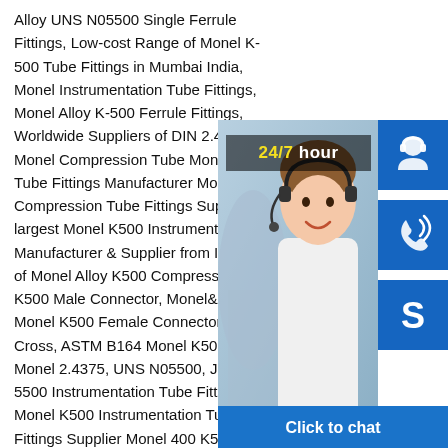Alloy UNS N05500 Single Ferrule Fittings, Low-cost Range of Monel K-500 Tube Fittings in Mumbai India, Monel Instrumentation Tube Fittings, Monel Alloy K-500 Ferrule Fittings, Worldwide Suppliers of DIN 2.4375 Monel Compression Tube Monel K500 Tube Fittings Manufacturer Monel 400 Compression Tube Fittings Supplier As largest Monel K500 Instrumentation Tube Manufacturer & Supplier from India. We of Monel Alloy K500 Compression Tube K500 Male Connector, Monel&Alloy K5 Monel K500 Female Connector, Monel Cross, ASTM B164 Monel K500 Ferru Monel 2.4375, UNS N05500, JIS NW 5500 Instrumentation Tube Fittings Monel K500 Instrumentation Tube Fittings Supplier Monel 400 K500 Compression Tube Fittings Supplier Monel K500 Instrumentation Tube Fittings Monel&K500 Single Ferrule Fittings, Monel Alloy K500 Double Ferrule Tube Fittings,
[Figure (photo): Customer service representative smiling, wearing headset, with blue icon panels showing headset icon, phone/Skype icon, and Skype 'S' icon. Yellow and white '24/7 hour' banner overlaid on photo. 'Click to chat' button at the bottom in blue.]